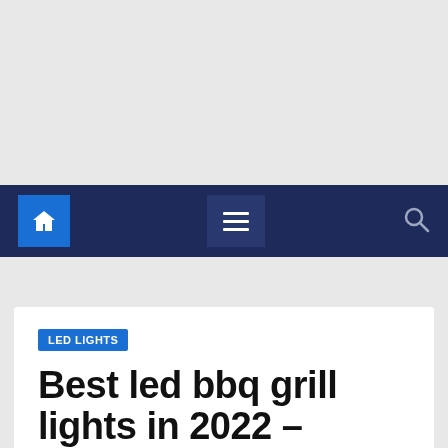[Figure (screenshot): Gray advertisement area placeholder at the top of the page]
Navigation bar with home icon, hamburger menu, and search icon
LED LIGHTS
Best led bbq grill lights in 2022 – Review & Buying